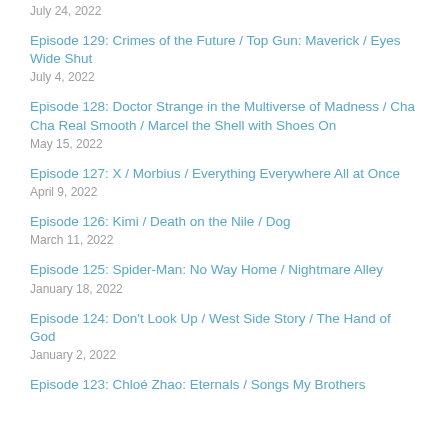July 24, 2022
Episode 129: Crimes of the Future / Top Gun: Maverick / Eyes Wide Shut
July 4, 2022
Episode 128: Doctor Strange in the Multiverse of Madness / Cha Cha Real Smooth / Marcel the Shell with Shoes On
May 15, 2022
Episode 127: X / Morbius / Everything Everywhere All at Once
April 9, 2022
Episode 126: Kimi / Death on the Nile / Dog
March 11, 2022
Episode 125: Spider-Man: No Way Home / Nightmare Alley
January 18, 2022
Episode 124: Don't Look Up / West Side Story / The Hand of God
January 2, 2022
Episode 123: Chloé Zhao: Eternals / Songs My Brothers